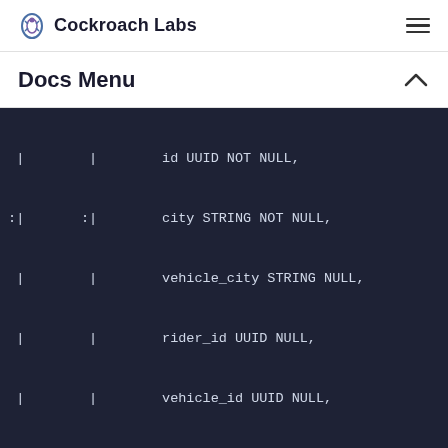Cockroach Labs
Docs Menu
[Figure (screenshot): Dark-background code block showing SQL DDL schema definition with columns: id UUID NOT NULL, city STRING NOT NULL, vehicle_city STRING NULL, rider_id UUID NULL, vehicle_id UUID NULL, start_address STRING NULL, end_address STRING NULL, start_time TIMESTAMP NULL, end_time TIMESTAMP NULL, revenue FLOAT NULL, CONSTRAINT primary PRIMARY KEY (c..., CONSTRAINT fk_city_ref_users FOREIG..., users (city, id), INDEX rides auto index fk city ref]